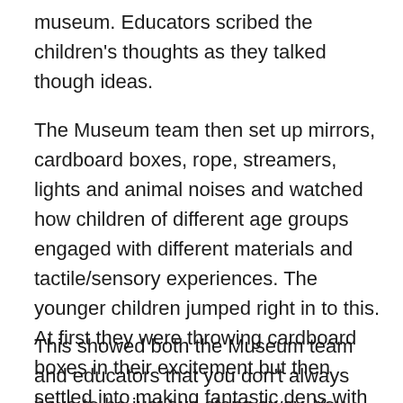museum. Educators scribed the children's thoughts as they talked though ideas.
The Museum team then set up mirrors, cardboard boxes, rope, streamers, lights and animal noises and watched how children of different age groups engaged with different materials and tactile/sensory experiences. The younger children jumped right in to this. At first they were throwing cardboard boxes in their excitement but then settled into making fantastic dens with the boxes and pieces of fabric.
This showed both the Museum team and educators that you don't always have to be just two steps away. You always have to be mindful and watching, but there's value in giving children the opportunity to show you what they are thinking in their own way, without prompts and questions. Activities like this are a beautiful way of